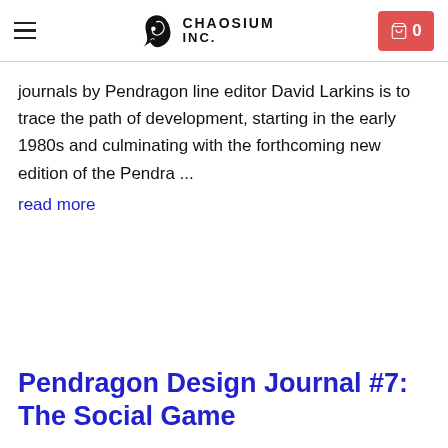Chaosium Inc.
journals by Pendragon line editor David Larkins is to trace the path of development, starting in the early 1980s and culminating with the forthcoming new edition of the Pendra ...
read more
Pendragon Design Journal #7: The Social Game